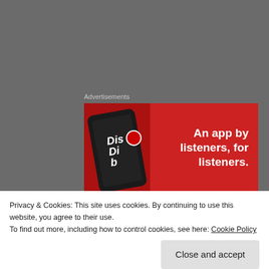Advertisements
[Figure (photo): Advertisement banner with red background showing a phone mockup with 'Dis[patch]' app and text 'An app by listeners, for listeners.']
Not long after publication, Wicked Game was long-listed by the Crime Writers Association for the 2016 John Creasey New Blood Dagger Award and at the end of 2016 it was listed by Amazon as the highest-rated
Privacy & Cookies: This site uses cookies. By continuing to use this website, you agree to their use.
To find out more, including how to control cookies, see here: Cookie Policy
Close and accept